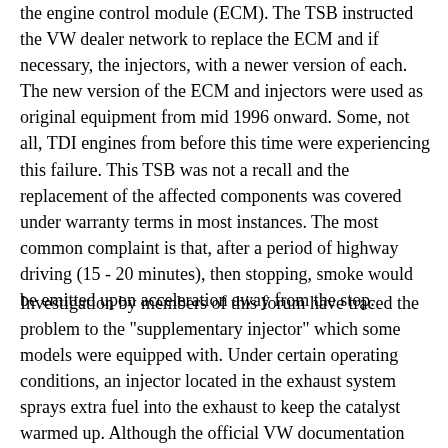the engine control module (ECM). The TSB instructed the VW dealer network to replace the ECM and if necessary, the injectors, with a newer version of each. The new version of the ECM and injectors were used as original equipment from mid 1996 onward. Some, not all, TDI engines from before this time were experiencing this failure. This TSB was not a recall and the replacement of the affected components was covered under warranty terms in most instances. The most common complaint is that, after a period of highway driving (15 - 20 minutes), then stopping, smoke would be emitted upon acceleration away from the stop.
Investigation by members of this forum have traced the problem to the "supplementary injector" which some models were equipped with. Under certain operating conditions, an injector located in the exhaust system sprays extra fuel into the exhaust to keep the catalyst warmed up. Although the official VW documentation insists that this system is only present and functional on models with automatic transmission (which were never actually produced), experience has shown that the system operates on the manual transmission models as well. This system proved to be